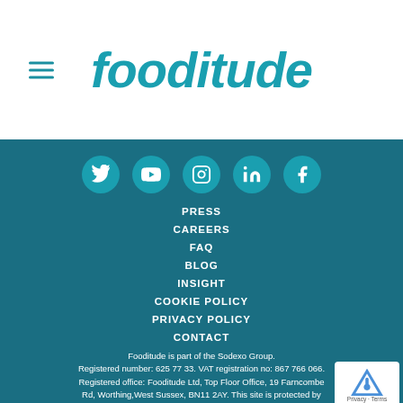fooditude
[Figure (logo): Fooditude logo in teal/cyan italic bold font with hamburger menu icon on left]
PRESS
CAREERS
FAQ
BLOG
INSIGHT
COOKIE POLICY
PRIVACY POLICY
CONTACT
Fooditude is part of the Sodexo Group. Registered number: 625 77 33. VAT registration no: 867 766 066. Registered office: Fooditude Ltd, Top Floor Office, 19 Farncombe Rd, Worthing,West Sussex, BN11 2AY. This site is protected by reCAPTCHA and Google Privacy Policy. Terms of Service apply.